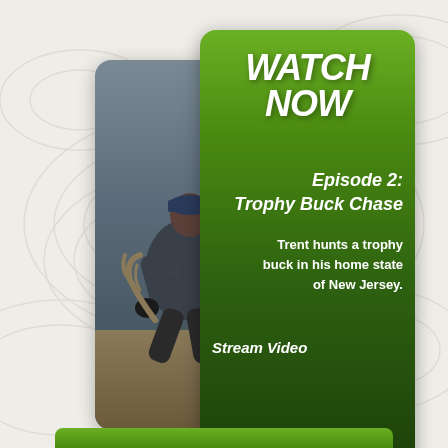[Figure (photo): Background with topographic map line pattern on light gray/cream background]
[Figure (photo): Photo of a Black man in gray hoodie and black gloves crouching over a deer with antlers in an outdoor field setting, dark overcast sky]
WATCH NOW
Episode 2:
Trophy Buck Chase
Trent hunts a trophy buck in his home state of New Jersey.
Stream Video